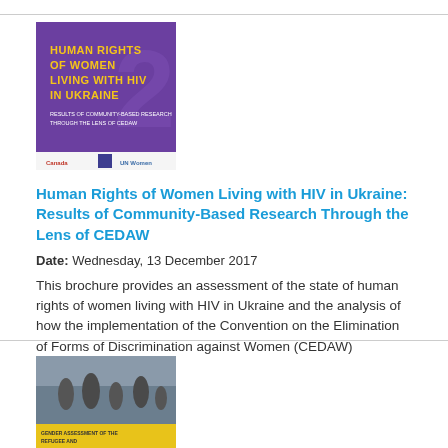[Figure (illustration): Book cover: 'Human Rights of Women Living with HIV in Ukraine' — purple background with yellow/orange title text and logos at the bottom (Canada, UN Women)]
Human Rights of Women Living with HIV in Ukraine: Results of Community-Based Research Through the Lens of CEDAW
Date: Wednesday, 13 December 2017
This brochure provides an assessment of the state of human rights of women living with HIV in Ukraine and the analysis of how the implementation of the Convention on the Elimination of Forms of Discrimination against Women (CEDAW) addresses their rights.
[Figure (photo): Book cover with a photo of people and a yellow banner at the bottom reading 'GENDER ASSESSMENT OF THE REFUGEE AND SECONDARY CRISIS IN UKRAINE']